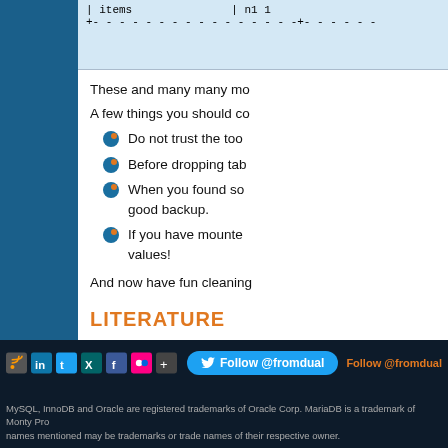[Figure (screenshot): Code block showing database table output with dashed borders, rows for 'items' and 'n1']
These and many many mo
A few things you should co
Do not trust the too
Before dropping tab
When you found som good backup.
If you have mounte values!
And now have fun cleaning
LITERATURE
mtime, ctime, and atime
english mysql table read to
Shinguz's blog
MySQL, InnoDB and Oracle are registered trademarks of Oracle Corp. MariaDB is a trademark of Monty Pro names mentioned may be trademarks or trade names of their respective owner.